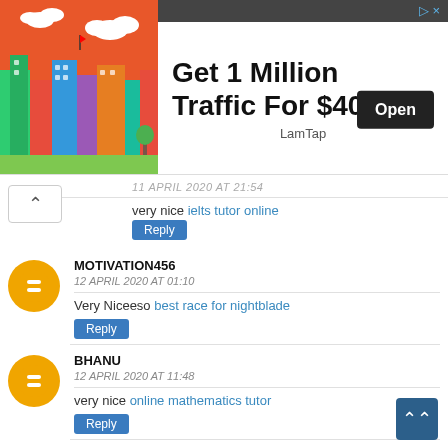[Figure (infographic): Advertisement banner: colorful city skyline illustration on left, text 'Get 1 Million Traffic For $40' in center, 'Open' button on right, 'LamTap' label, top dark bar with icons]
very nice ielts tutor online
Reply
MOTIVATION456
12 APRIL 2020 AT 01:10
Very Niceeso best race for nightblade
Reply
BHANU
12 APRIL 2020 AT 11:48
very nice online mathematics tutor
Reply
BHANU